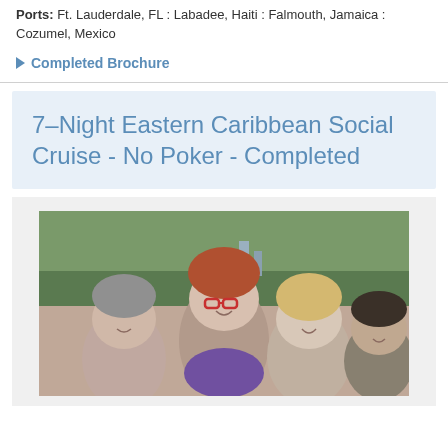Ports: Ft. Lauderdale, FL : Labadee, Haiti : Falmouth, Jamaica : Cozumel, Mexico
▶ Completed Brochure
7–Night Eastern Caribbean Social Cruise - No Poker - Completed
[Figure (photo): Group selfie photo of four people (three women and one man) smiling outdoors, with trees and a cityscape visible in the background]